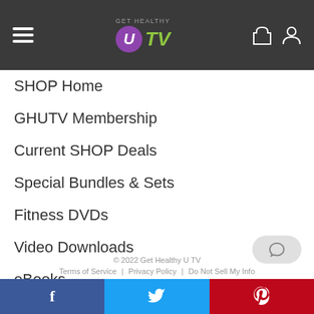GET HEALTHY U TV
SHOP Home
GHUTV Membership
Current SHOP Deals
Special Bundles & Sets
Fitness DVDs
Video Downloads
eBooks
Workout Apparel
© 2022 Get Healthy U TV  Terms of Service | Privacy Policy | Do Not Sell My Info